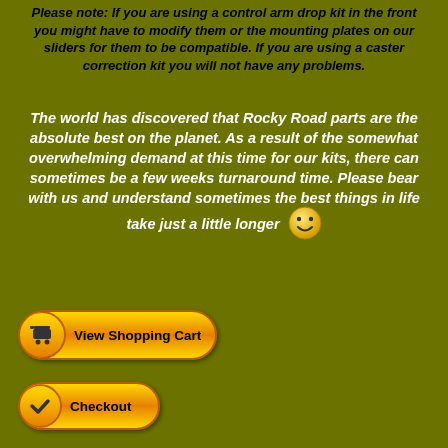Please note: If you are using a control arm drop kit in the front you might have to modify them or the mounting plates on our sliders for them to be compatible. If you are using a caster correction kit you will not have any problems.
The world has discovered that Rocky Road parts are the absolute best on the planet. As a result of the somewhat overwhelming demand at this time for our kits, there can sometimes be a few weeks turnaround time. Please bear with us and understand sometimes the best things in life take just a little longer :)
[Figure (illustration): Orange pill-shaped button with shopping cart icon and text 'View Shopping Cart']
[Figure (illustration): Orange pill-shaped button with checkmark icon and text 'Checkout']